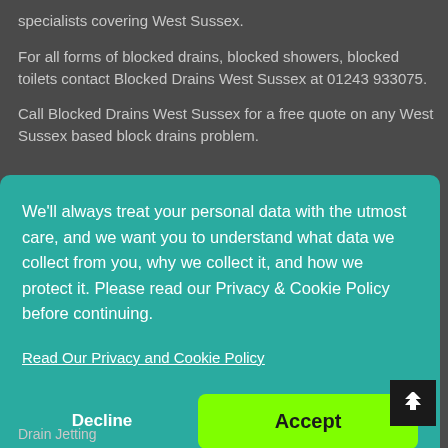specialists covering West Sussex.
For all forms of blocked drains, blocked showers, blocked toilets contact Blocked Drains West Sussex at 01243 933075.
Call Blocked Drains West Sussex for a free quote on any West Sussex based block drains problem.
We'll always treat your personal data with the utmost care, and we want you to understand what data we collect from you, why we collect it, and how we protect it. Please read our Privacy & Cookie Policy before continuing.
Read Our Privacy and Cookie Policy
Decline
Accept
Drain Jetting